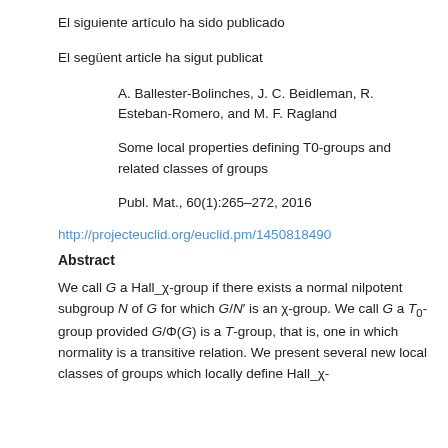El siguiente artículo ha sido publicado
El següent article ha sigut publicat
A. Ballester-Bolinches, J. C. Beidleman, R. Esteban-Romero, and M. F. Ragland
Some local properties defining T0-groups and related classes of groups
Publ. Mat., 60(1):265–272, 2016
http://projecteuclid.org/euclid.pm/1450818490
Abstract
We call G a Hall_χ-group if there exists a normal nilpotent subgroup N of G for which G/N′ is an χ-group. We call G a T0-group provided G/Φ(G) is a T-group, that is, one in which normality is a transitive relation. We present several new local classes of groups which locally define Hall_χ-